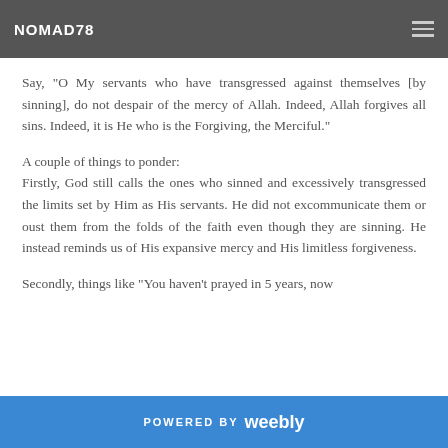NOMAD78
Say, "O My servants who have transgressed against themselves [by sinning], do not despair of the mercy of Allah. Indeed, Allah forgives all sins. Indeed, it is He who is the Forgiving, the Merciful."
A couple of things to ponder:
Firstly, God still calls the ones who sinned and excessively transgressed the limits set by Him as His servants. He did not excommunicate them or oust them from the folds of the faith even though they are sinning. He instead reminds us of His expansive mercy and His limitless forgiveness.
Secondly, things like "You haven't prayed in 5 years, now
POWERED BY weebly